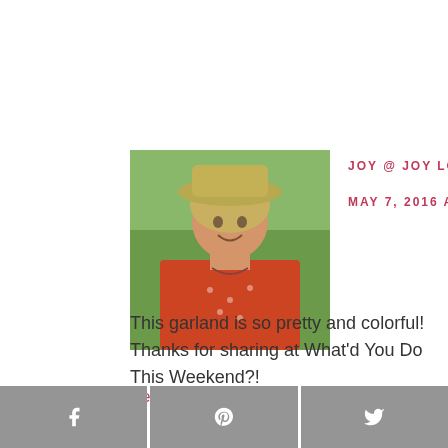[Figure (photo): Avatar photo of a woman wearing a hat, smiling outdoors with green foliage in background]
JOY @ JOY LOVE FOOD says
MAY 7, 2016 AT 4:16 PM
This garland is so pretty and colorful! Thanks for sharing at What'd You Do This Weekend?!
Reply
[Figure (other): Footer social share bar with Facebook, Pinterest, and Twitter buttons]